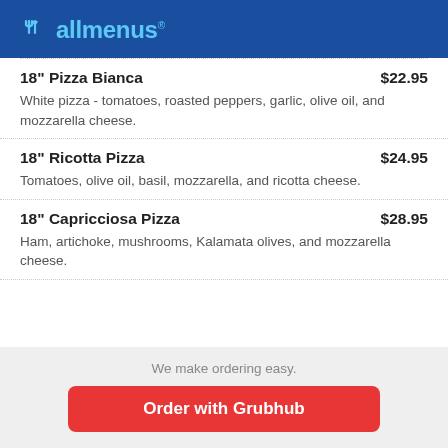allmenus
18" Pizza Bianca $22.95 — White pizza - tomatoes, roasted peppers, garlic, olive oil, and mozzarella cheese.
18" Ricotta Pizza $24.95 — Tomatoes, olive oil, basil, mozzarella, and ricotta cheese.
18" Capricciosa Pizza $28.95 — Ham, artichoke, mushrooms, Kalamata olives, and mozzarella cheese.
We make ordering easy.
Order with Grubhub